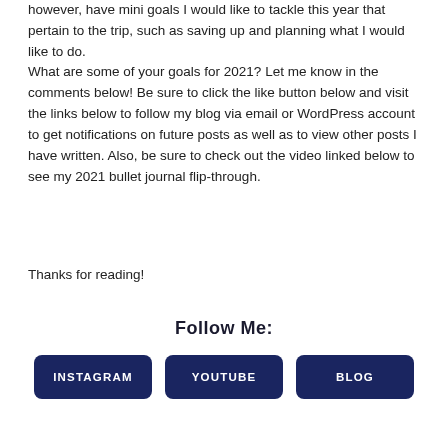however, have mini goals I would like to tackle this year that pertain to the trip, such as saving up and planning what I would like to do.
What are some of your goals for 2021? Let me know in the comments below! Be sure to click the like button below and visit the links below to follow my blog via email or WordPress account to get notifications on future posts as well as to view other posts I have written. Also, be sure to check out the video linked below to see my 2021 bullet journal flip-through.
Thanks for reading!
Follow Me:
INSTAGRAM | YOUTUBE | BLOG